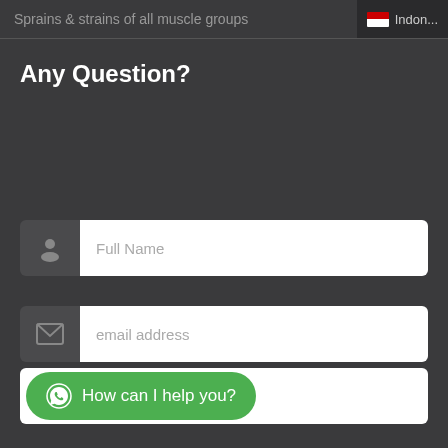Sprains & strains of all muscle groups
Any Question?
Full Name
email address
How can I help you?